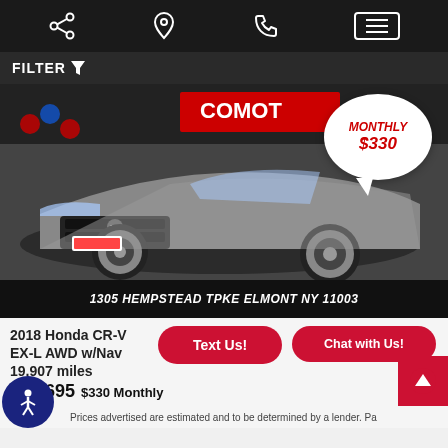[Navigation bar with share, location, phone, and menu icons]
FILTER
[Figure (photo): 2018 Honda CR-V silver/gray SUV photographed at a dealership showroom with balloons and signage in background. Speech bubble overlay reads 'MONTHLY $330'. Black banner at bottom reads '1305 HEMPSTEAD TPKE ELMONT NY 11003'.]
2018 Honda CR-V EX-L AWD w/Navi 19,907 miles
Text Us!
Chat with Us!
$27,695 $330 Monthly
Prices advertised are estimated and to be determined by a lender. Pa